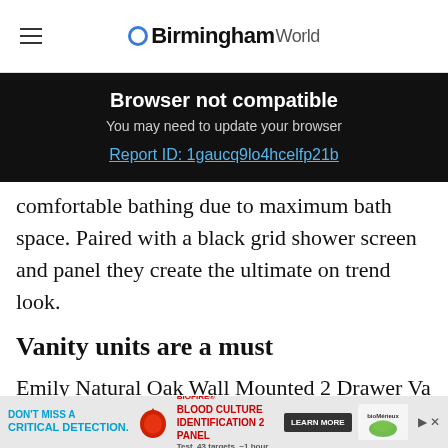BirminghamWorld
Browser not compatible
You may need to update your browser
Report ID: 1gaucq9lo4hcelfp21b
comfortable bathing due to maximum bath space. Paired with a black grid shower screen and panel they create the ultimate on trend look.
Vanity units are a must
Emily Natural Oak Wall Mounted 2 Drawer Vanity
[Figure (other): Advertisement banner: DON'T MISS A CRITICAL DETECTION. BIOFIRE BLOOD CULTURE IDENTIFICATION 2 PANEL. LEARN MORE. bioMérieux logo. Test. 43 targets. ~1 hour.]